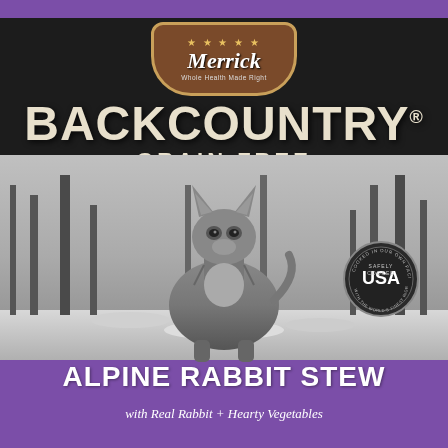[Figure (photo): Merrick Backcountry Grain Free Alpine Rabbit Stew dog food can label. Features the Merrick logo in a brown badge at top, large BACKCOUNTRY text, GRAIN FREE subtitle, a wolf standing in a snowy forest background in black and white, a USA badge on the right, and a purple band at the bottom with the product name Alpine Rabbit Stew with Real Rabbit + Hearty Vegetables.]